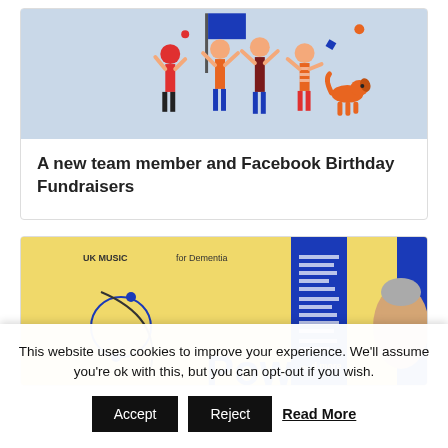[Figure (illustration): Colorful cartoon illustration of people celebrating with a flag, a dog, on a light blue background]
A new team member and Facebook Birthday Fundraisers
[Figure (photo): Yellow booklet/brochure with blue design elements. Text partially visible: 'UK Music', 'for Dementia', 'Power'. A person's face is partially visible on the right side.]
This website uses cookies to improve your experience. We'll assume you're ok with this, but you can opt-out if you wish.